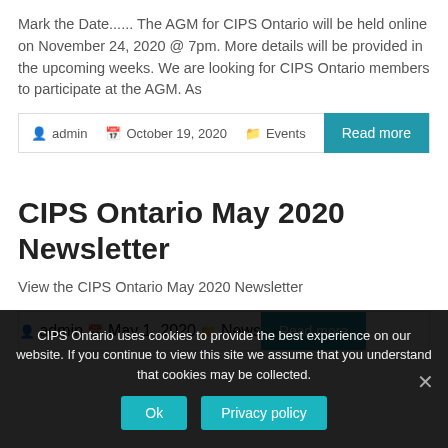Mark the Date...... The AGM for CIPS Ontario will be held online on November 24, 2020 @ 7pm. More details will be provided in the upcoming weeks. We are looking for CIPS Ontario members to participate at the AGM. As
admin  October 19, 2020  Events  Read more
CIPS Ontario May 2020 Newsletter
View the CIPS Ontario May 2020 Newsletter
admin  May 1, 2020  News  Read more
CIPS Ontario uses cookies to provide the best experience on our website. If you continue to view this site we assume that you understand that cookies may be collected.